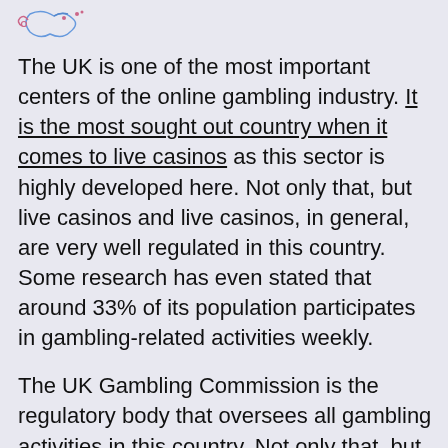[Figure (logo): Small decorative icon/logo in top left corner, appears to be a stylized fish or animal shape in blue/pink outline with dots]
The UK is one of the most important centers of the online gambling industry. It is the most sought out country when it comes to live casinos as this sector is highly developed here. Not only that, but live casinos and live casinos, in general, are very well regulated in this country. Some research has even stated that around 33% of its population participates in gambling-related activities weekly.
The UK Gambling Commission is the regulatory body that oversees all gambling activities in this country. Not only that, but it is one of the most reputable international regulatory bodies. All live dealer casinos that are seeking to offer legal services globally are often seeking a license from the UKGC.
Thanks to the fact that live casinos are well-regulated in the UK, all residents who are 18 or older are more than keen on participating in these activities. One of